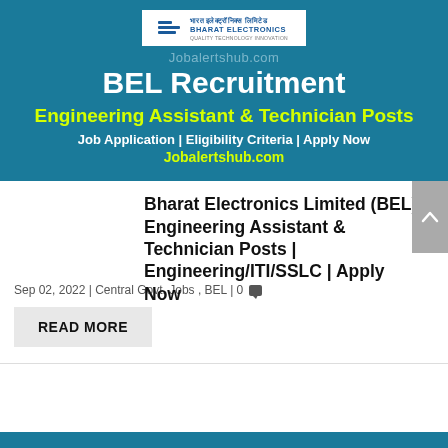[Figure (logo): BEL (Bharat Electronics Limited) logo with text: BHARAT ELECTRONICS, Quality Technology Innovation]
Jobalertshub.com
BEL Recruitment
Engineering Assistant & Technician Posts
Job Application | Eligibility Criteria | Apply Now
Jobalertshub.com
Bharat Electronics Limited (BEL) Engineering Assistant & Technician Posts | Engineering/ITI/SSLC | Apply Now
Sep 02, 2022 | Central Govt. Jobs , BEL | 0
READ MORE